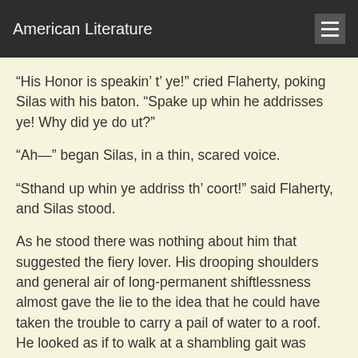American Literature
“His Honor is speakin’ t’ ye!” cried Flaherty, poking Silas with his baton. “Spake up whin he addrisses ye! Why did ye do ut?”
“Ah—” began Silas, in a thin, scared voice.
“Sthand up whin ye addriss th’ coort!” said Flaherty, and Silas stood.
As he stood there was nothing about him that suggested the fiery lover. His drooping shoulders and general air of long-permanent shiftlessness almost gave the lie to the idea that he could have taken the trouble to carry a pail of water to a roof. He looked as if to walk at a shambling gait was